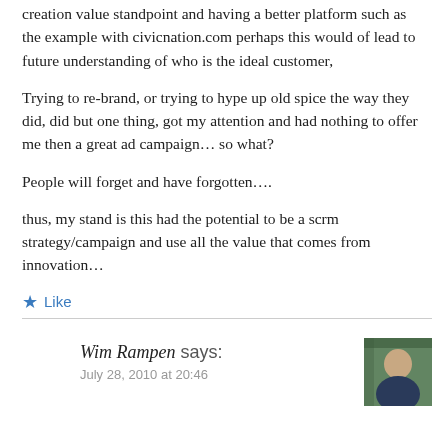creation value standpoint and having a better platform such as the example with civicnation.com perhaps this would of lead to future understanding of who is the ideal customer,
Trying to re-brand, or trying to hype up old spice the way they did, did but one thing, got my attention and had nothing to offer me then a great ad campaign… so what?
People will forget and have forgotten….
thus, my stand is this had the potential to be a scrm strategy/campaign and use all the value that comes from innovation…
Like
Wim Rampen says:
July 28, 2010 at 20:46